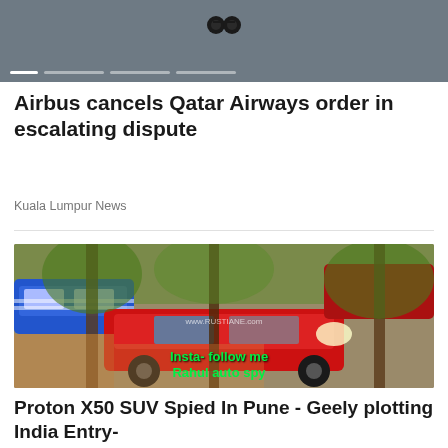[Figure (photo): Dark grey banner/slider area with slide progress indicators at bottom and a small camera/binoculars icon at top center]
Airbus cancels Qatar Airways order in escalating dispute
Kuala Lumpur News
[Figure (photo): Outdoor photo showing multiple cars including a red SUV (Proton X50) and a blue car parked among trees. Green overlay text reads 'Insta- follow me Rahul auto spy' and watermark 'www.RUSTIANE.com']
Proton X50 SUV Spied In Pune - Geely plotting India Entry-